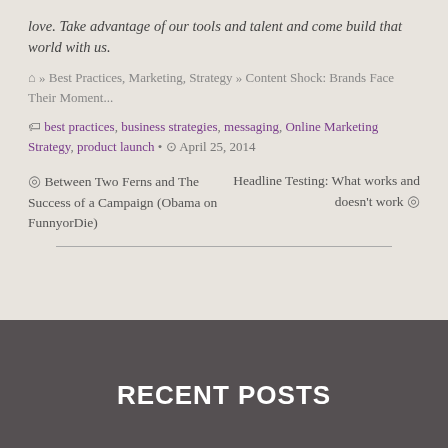love. Take advantage of our tools and talent and come build that world with us.
🏠 » Best Practices, Marketing, Strategy » Content Shock: Brands Face Their Moment...
🏷 best practices, business strategies, messaging, Online Marketing Strategy, product launch • 🕐 April 25, 2014
◎ Between Two Ferns and The Success of a Campaign (Obama on FunnyorDie)
Headline Testing: What works and doesn't work ◎
RECENT POSTS